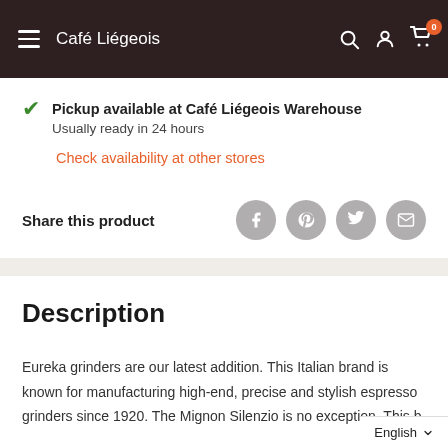Café Liégeois
Pickup available at Café Liégeois Warehouse
Usually ready in 24 hours
Check availability at other stores
Share this product
Description
Eureka grinders are our latest addition. This Italian brand is known for manufacturing high-end, precise and stylish espresso grinders since 1920. The Mignon Silenzio is no exception. This b